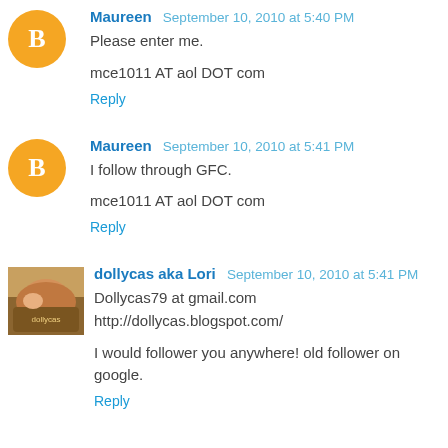Maureen September 10, 2010 at 5:40 PM
Please enter me.

mce1011 AT aol DOT com
Reply
Maureen September 10, 2010 at 5:41 PM
I follow through GFC.

mce1011 AT aol DOT com
Reply
dollycas aka Lori September 10, 2010 at 5:41 PM
Dollycas79 at gmail.com
http://dollycas.blogspot.com/

I would follower you anywhere! old follower on google.
Reply